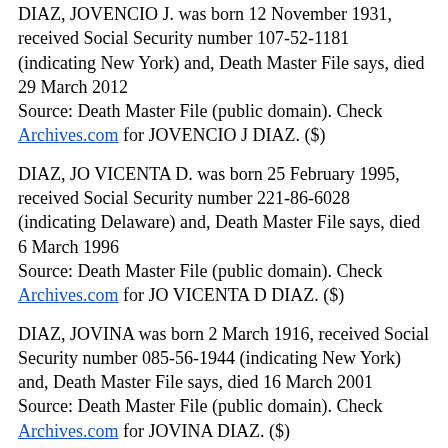DIAZ, JOVENCIO J. was born 12 November 1931, received Social Security number 107-52-1181 (indicating New York) and, Death Master File says, died 29 March 2012 Source: Death Master File (public domain). Check Archives.com for JOVENCIO J DIAZ. ($)
DIAZ, JO VICENTA D. was born 25 February 1995, received Social Security number 221-86-6028 (indicating Delaware) and, Death Master File says, died 6 March 1996 Source: Death Master File (public domain). Check Archives.com for JO VICENTA D DIAZ. ($)
DIAZ, JOVINA was born 2 March 1916, received Social Security number 085-56-1944 (indicating New York) and, Death Master File says, died 16 March 2001 Source: Death Master File (public domain). Check Archives.com for JOVINA DIAZ. ($)
DIAZ, JOVINA C. married a groom named JOSE R. MERCEDES in the year 1987 on license number 10495